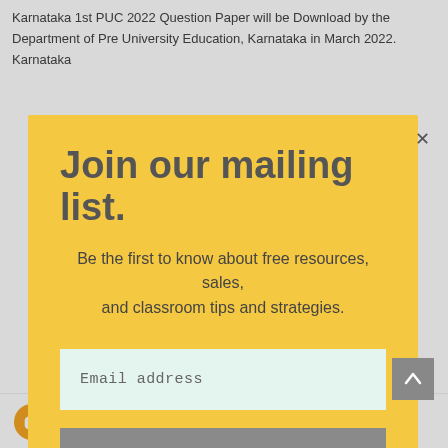Karnataka 1st PUC 2022 Question Paper will be Download by the Department of Pre University Education, Karnataka in March 2022. Karnataka
Join our mailing list.
Be the first to know about free resources, sales, and classroom tips and strategies.
Email address
Subscribe
miracle spring August 2, 2021 at 6:57 A